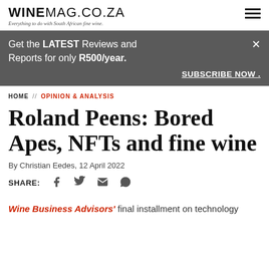WINEMAG.CO.ZA — Everything to do with South African fine wine.
Get the LATEST Reviews and Reports for only R500/year.  SUBSCRIBE NOW .
HOME // OPINION & ANALYSIS
Roland Peens: Bored Apes, NFTs and fine wine
By Christian Eedes, 12 April 2022
SHARE:
Wine Business Advisors' final installment on technology